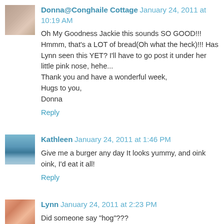Donna@Conghaile Cottage January 24, 2011 at 10:19 AM
Oh My Goodness Jackie this sounds SO GOOD!!! Hmmm, that's a LOT of bread(Oh what the heck)!!! Has Lynn seen this YET? I'll have to go post it under her little pink nose, hehe...
Thank you and have a wonderful week,
Hugs to you,
Donna
Reply
Kathleen January 24, 2011 at 1:46 PM
Give me a burger any day It looks yummy, and oink oink, I'd eat it all!
Reply
Lynn January 24, 2011 at 2:23 PM
Did someone say "hog"???